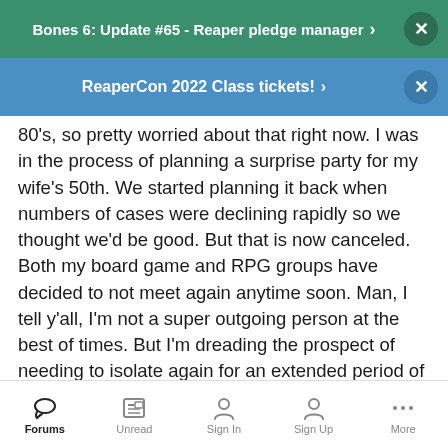Bones 6: Update #65 - Reaper pledge manager
ReaperCon 2022 Class tickets!
80's, so pretty worried about that right now. I was in the process of planning a surprise party for my wife's 50th. We started planning it back when numbers of cases were declining rapidly so we thought we'd be good. But that is now canceled. Both my board game and RPG groups have decided to not meet again anytime soon. Man, I tell y'all, I'm not a super outgoing person at the best of times. But I'm dreading the prospect of needing to isolate again for an extended period of time while this runs it's course. One thing I've learned during this time is how much I need social interactions in my life in order to maintain a positive mood. I'm meeting with my management team later this week to discuss the possibility of restarting our intern program later this year, but given everything that is going on I'm betting we all just decide to wait another year.
Forums  Unread  Sign In  Sign Up  More